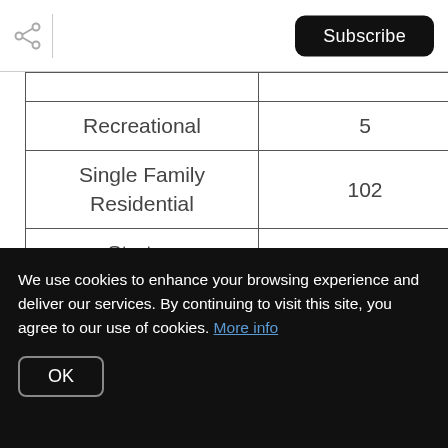Subscribe
| Recreational | 5 |
| Single Family Residential | 102 |
| Strata - Apartments | 32 |
| - Townhouses | 30 |
We use cookies to enhance your browsing experience and deliver our services. By continuing to visit this site, you agree to our use of cookies. More info
OK